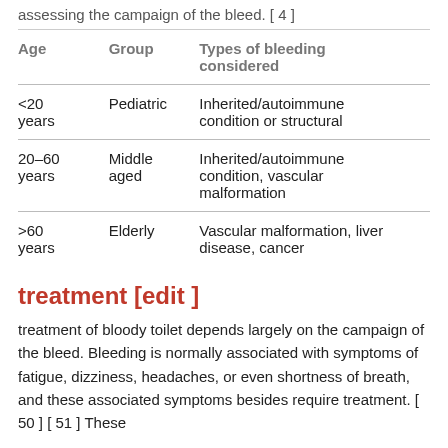assessing the campaign of the bleed. [4]
| Age | Group | Types of bleeding considered |
| --- | --- | --- |
| <20 years | Pediatric | Inherited/autoimmune condition or structural |
| 20–60 years | Middle aged | Inherited/autoimmune condition, vascular malformation |
| >60 years | Elderly | Vascular malformation, liver disease, cancer |
treatment [edit ]
treatment of bloody toilet depends largely on the campaign of the bleed. Bleeding is normally associated with symptoms of fatigue, dizziness, headaches, or even shortness of breath, and these associated symptoms besides require treatment. [ 50 ] [ 51 ] These